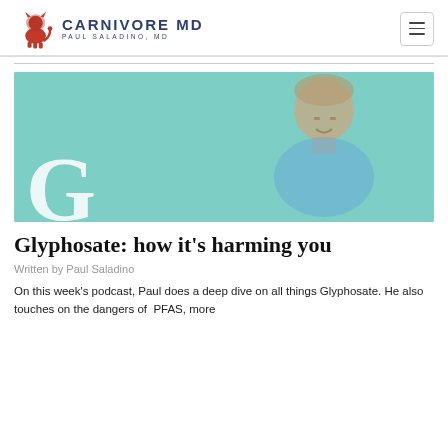CARNIVORE MD — PAUL SALADINO, MD
[Figure (photo): Hero image with teal/mint background showing a smiling man, with a large letter 'G' partially visible at bottom left corner of the image.]
Glyphosate: how it's harming you
Written by Paul Saladino
On this week's podcast, Paul does a deep dive on all things Glyphosate. He also touches on the dangers of PFAS, more commonly known as (Teflon), and other fascinating topics.